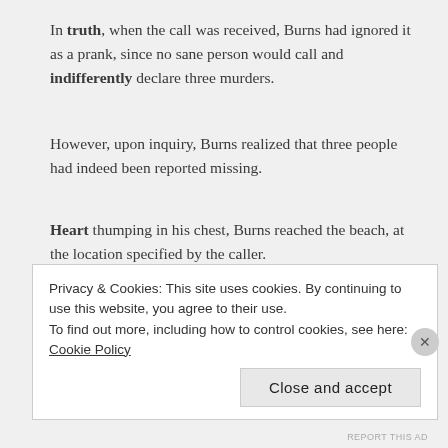In truth, when the call was received, Burns had ignored it as a prank, since no sane person would call and indifferently declare three murders.
However, upon inquiry, Burns realized that three people had indeed been reported missing.
Heart thumping in his chest, Burns reached the beach, at the location specified by the caller.
As soon as he saw the two Ks etched in the sand, Burns teared up.
The buried, hacked bodies confirmed the return of the Krooked Killer.
Privacy & Cookies: This site uses cookies. By continuing to use this website, you agree to their use. To find out more, including how to control cookies, see here: Cookie Policy
Close and accept
REPORT THIS AD